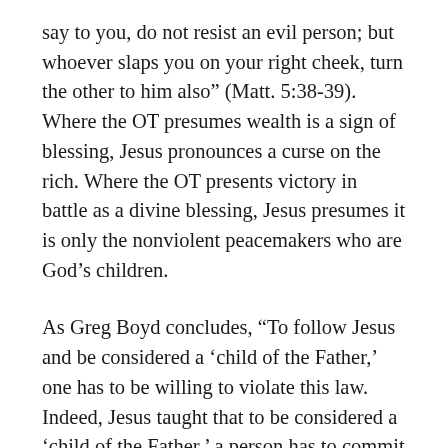say to you, do not resist an evil person; but whoever slaps you on your right cheek, turn the other to him also” (Matt. 5:38-39). Where the OT presumes wealth is a sign of blessing, Jesus pronounces a curse on the rich. Where the OT presents victory in battle as a divine blessing, Jesus presumes it is only the nonviolent peacemakers who are God’s children.
As Greg Boyd concludes, “To follow Jesus and be considered a ‘child of the Father,’ one has to be willing to violate this law. Indeed, Jesus taught that to be considered a ‘child of the Father,’ a person has to commit to doing the exact opposite of what this law commands!”[1]